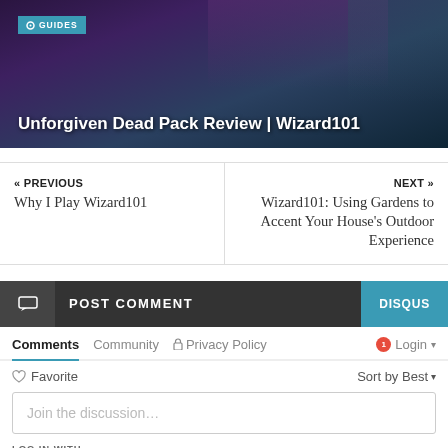[Figure (screenshot): Hero banner image with dark fantasy game art background showing characters]
GUIDES
Unforgiven Dead Pack Review | Wizard101
« PREVIOUS
Why I Play Wizard101
NEXT »
Wizard101: Using Gardens to Accent Your House's Outdoor Experience
POST COMMENT
DISQUS
Comments  Community  Privacy Policy  1  Login
♡ Favorite  Sort by Best
Join the discussion...
LOG IN WITH
[Figure (illustration): Four social login icons: Disqus (blue), Facebook (navy), Twitter (light blue), Google (red)]